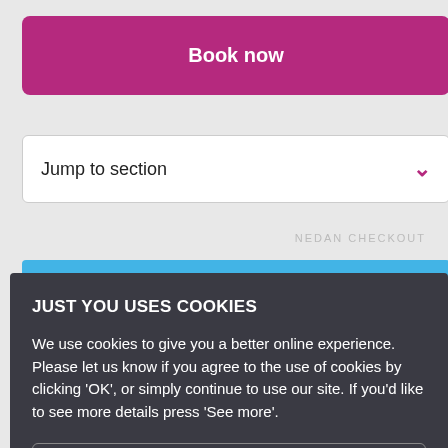Book now
Jump to section
JUST YOU USES COOKIES
We use cookies to give you a better online experience. Please let us know if you agree to the use of cookies by clicking 'OK', or simply continue to use our site. If you'd like to see more details press 'See more'.
See More
OK